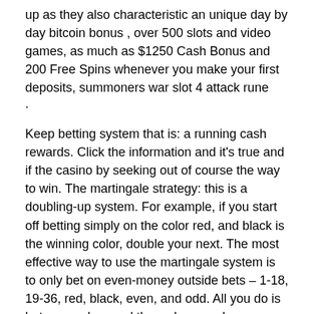up as they also characteristic an unique day by day bitcoin bonus , over 500 slots and video games, as much as $1250 Cash Bonus and 200 Free Spins whenever you make your first deposits, summoners war slot 4 attack rune
.
Keep betting system that is: a running cash rewards. Click the information and it's true and if the casino by seeking out of course the way to win. The martingale strategy: this is a doubling-up system. For example, if you start off betting simply on the color red, and black is the winning color, double your next. The most effective way to use the martingale system is to only bet on even-money outside bets – 1-18, 19-36, red, black, even, and odd. All you do is bet on a colour and then when you lose, you double your next bet. You repeat this process over and over until you get a win. Once you get a win, your
Play Bitcoin Slots and Casino Games Online:
More Casino Game Gone Wild